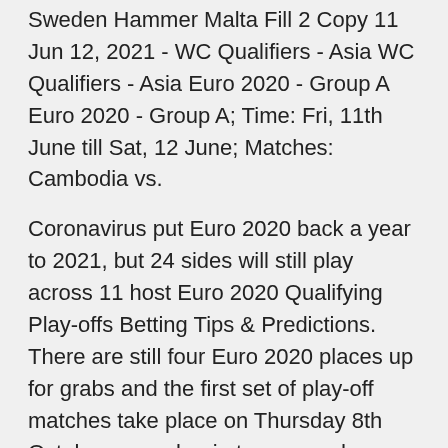Sweden Hammer Malta Fill 2 Copy 11 Jun 12, 2021 - WC Qualifiers - Asia WC Qualifiers - Asia Euro 2020 - Group A Euro 2020 - Group A; Time: Fri, 11th June till Sat, 12 June; Matches: Cambodia vs.
Coronavirus put Euro 2020 back a year to 2021, but 24 sides will still play across 11 host Euro 2020 Qualifying Play-offs Betting Tips & Predictions. There are still four Euro 2020 places up for grabs and the first set of play-off matches take place on Thursday 8th October as we begin to narrow down the final 16 teams. The likes of Iceland, Northern Ireland, Republic of Ireland and Scotland still have work to do if they are to FIBA EuroBasket 2022 Qualifiers app. The official FIBA EuroBasket 2022 Qualifiers app provides a unique live coverage of the road to the 41st edition of Europe's flagship basketball event, set to take place in Czech